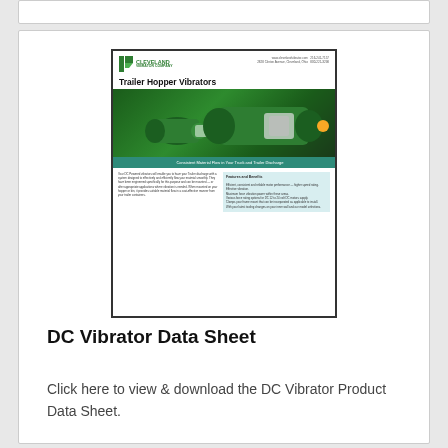[Figure (illustration): Thumbnail of Cleveland Vibrator Company product data sheet for Trailer Hopper Vibrators, showing green industrial vibrator motors, a teal banner, and body text columns.]
DC Vibrator Data Sheet
Click here to view & download the DC Vibrator Product Data Sheet.